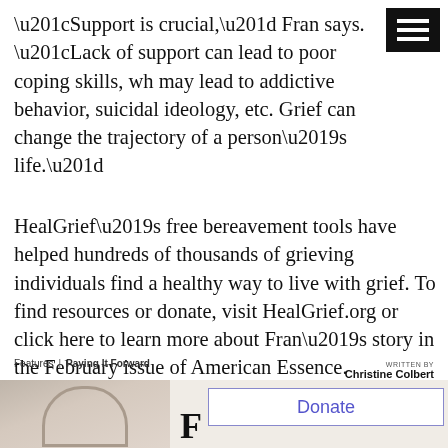“Support is crucial,” Fran says. “Lack of support can lead to poor coping skills, wh may lead to addictive behavior, suicidal ideology, etc. Grief can change the trajectory of a person’s life.”
HealGrief’s free bereavement tools have helped hundreds of thousands of grieving individuals find a healthy way to live with grief. To find resources or donate, visit HealGrief.org or click here to learn more about Fran’s story in the February issue of American Essence.
Features | Paying It Forward
WRITTEN BY Christine Colbert
[Figure (photo): Partial photo of a person, cropped at bottom of page]
F
Donate